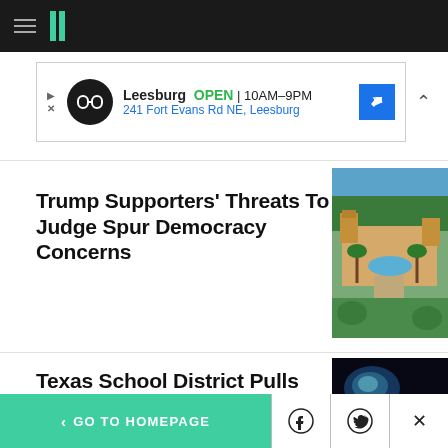HuffPost navigation bar with hamburger menu and logo
[Figure (other): Advertisement banner for a store in Leesburg: OPEN 10AM-9PM, 241 Fort Evans Rd NE, Leesburg]
Trump Supporters' Threats To Judge Spur Democracy Concerns
[Figure (photo): Aerial view of Mar-a-Lago estate in Florida with pool, palm trees, and ocean in background]
Texas School District Pulls Bible From Library Amid
[Figure (photo): Dark background with an open book illuminated, pages fanned open]
< GO TO HOMEPAGE | Facebook | Twitter | X